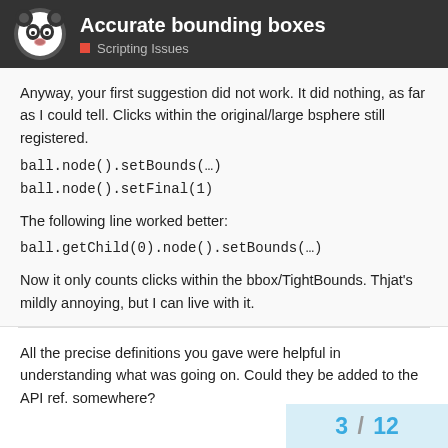Accurate bounding boxes — Scripting Issues
Anyway, your first suggestion did not work. It did nothing, as far as I could tell. Clicks within the original/large bsphere still registered.
ball.node().setBounds(…)
ball.node().setFinal(1)

The following line worked better:
ball.getChild(0).node().setBounds(…)

Now it only counts clicks within the bbox/TightBounds. Thjat's mildly annoying, but I can live with it.
All the precise definitions you gave were helpful in understanding what was going on. Could they be added to the API ref. somewhere?
3 / 12